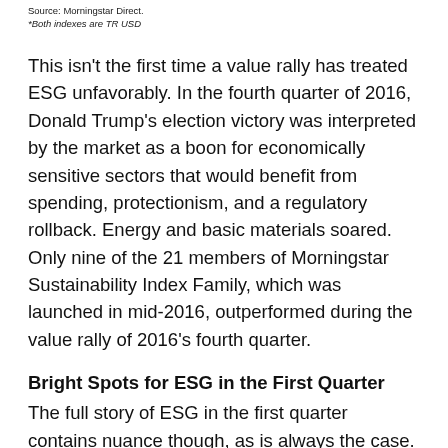Source: Morningstar Direct.
*Both indexes are TR USD
This isn't the first time a value rally has treated ESG unfavorably. In the fourth quarter of 2016, Donald Trump's election victory was interpreted by the market as a boon for economically sensitive sectors that would benefit from spending, protectionism, and a regulatory rollback. Energy and basic materials soared. Only nine of the 21 members of Morningstar Sustainability Index Family, which was launched in mid-2016, outperformed during the value rally of 2016's fourth quarter.
Bright Spots for ESG in the First Quarter
The full story of ESG in the first quarter contains nuance though, as is always the case. First, it must be pointed out that some ESG-screened indexes overcame challenging sector dynamics and outperformed regardless. The